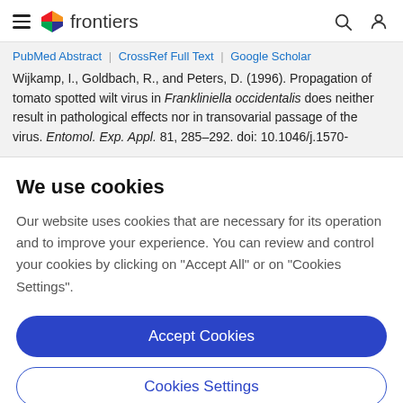frontiers
PubMed Abstract | CrossRef Full Text | Google Scholar
Wijkamp, I., Goldbach, R., and Peters, D. (1996). Propagation of tomato spotted wilt virus in Frankliniella occidentalis does neither result in pathological effects nor in transovarial passage of the virus. Entomol. Exp. Appl. 81, 285–292. doi: 10.1046/j.1570-
We use cookies
Our website uses cookies that are necessary for its operation and to improve your experience. You can review and control your cookies by clicking on "Accept All" or on "Cookies Settings".
Accept Cookies
Cookies Settings